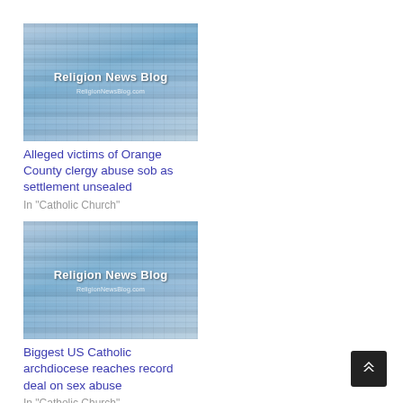[Figure (screenshot): Religion News Blog thumbnail - newspapers collage with blue overlay]
Alleged victims of Orange County clergy abuse sob as settlement unsealed
In "Catholic Church"
[Figure (screenshot): Religion News Blog thumbnail - newspapers collage with blue overlay]
Biggest US Catholic archdiocese reaches record deal on sex abuse
In "Catholic Church"
[Figure (screenshot): Religion News Blog thumbnail - newspapers collage with blue overlay]
800 cases filed in state against Catholic church
In "Catholic Church"